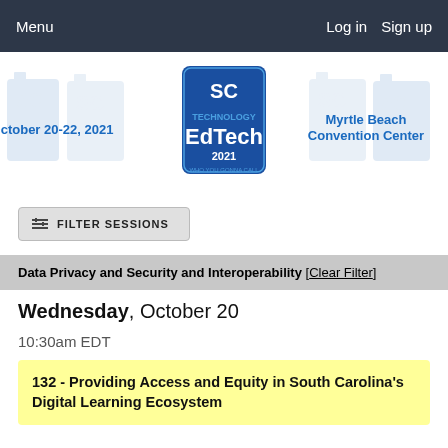Menu | Log in  Sign up
[Figure (logo): SC EdTech 2021 Technology Busters conference banner. Shows date October 20-22, 2021 on the left, SC EdTech 2021 logo in center, Myrtle Beach Convention Center on the right, with SC state outline graphics repeated across the background.]
FILTER SESSIONS
Data Privacy and Security and Interoperability [Clear Filter]
Wednesday, October 20
10:30am EDT
132 - Providing Access and Equity in South Carolina's Digital Learning Ecosystem